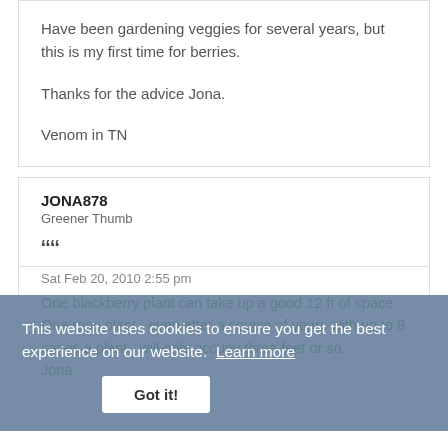Have been gardening veggies for several years, but this is my first time for berries.

Thanks for the advice Jona.

Venom in TN
JONA878
Greener Thumb
““
Sat Feb 20, 2010 2:55 pm
One blackberry plant can take up a good 12 ft of space.
One rasp plant , even after a couple of years with up to 8 canes a plant , will only occupy three feet or so.
Jona
This website uses cookies to ensure you get the best experience on our website. Learn more
Got it!